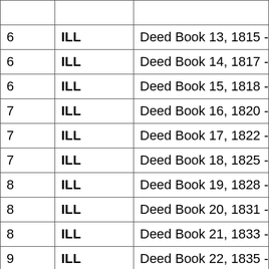|  |  |  |
| --- | --- | --- |
| 6 | ILL | Deed Book 13, 1815 - 1817, Unpa |
| 6 | ILL | Deed Book 14, 1817 - 1818, Unpa |
| 6 | ILL | Deed Book 15, 1818 - 1820, Unpa |
| 7 | ILL | Deed Book 16, 1820 - 1822, Unpa |
| 7 | ILL | Deed Book 17, 1822 - 1825, Unpa |
| 7 | ILL | Deed Book 18, 1825 - 1828, Unpa |
| 8 | ILL | Deed Book 19, 1828 - 1831, Unpa |
| 8 | ILL | Deed Book 20, 1831 - 1833, Unpa |
| 8 | ILL | Deed Book 21, 1833 - 1835, Unpa |
| 9 | ILL | Deed Book 22, 1835 - 1838, Unpa |
| 9 | ILL | Deed Book 23, 1838 - 1839, Unpa |